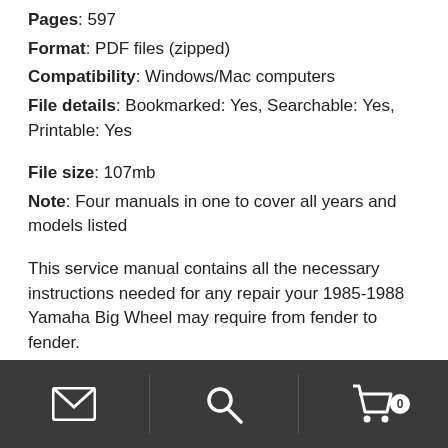Pages: 597
Format: PDF files (zipped)
Compatibility: Windows/Mac computers
File details: Bookmarked: Yes, Searchable: Yes, Printable: Yes
File size: 107mb
Note: Four manuals in one to cover all years and models listed
This service manual contains all the necessary instructions needed for any repair your 1985-1988 Yamaha Big Wheel may require from fender to fender. This is the same manual technicians use to diagnose and repair your 1985-1988 Big Wheel. Whether it's routine maintenance, such as tune-ups and brake
mail | search | cart (0)